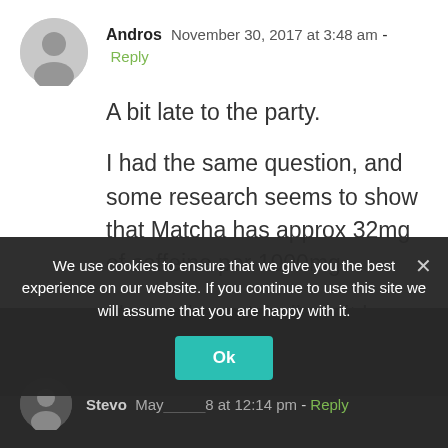Andros  November 30, 2017 at 3:48 am  - Reply
A bit late to the party.

I had the same question, and some research seems to show that Matcha has approx 32mg of caffeine per 1000mg.

I honestly can't believe it has that much. That means I'd be drinking 64mg caffeine with 2 scoops, and it doesn't have the kick that a can of Red Bull (80mg of caffeine).
We use cookies to ensure that we give you the best experience on our website. If you continue to use this site we will assume that you are happy with it.
Ok
Stevo  May 18 at 12:14 pm  - Reply